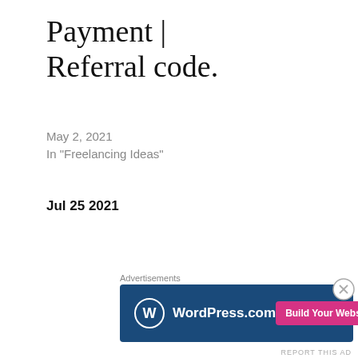Payment | Referral code.
May 2, 2021
In "Freelancing Ideas"
Jul 25 2021
Published by
Pritam Shinde
Informing genuine freelance ideas to freelancers to earn second source of income along with
[Figure (infographic): WordPress.com advertisement banner with logo and 'Build Your Website' button]